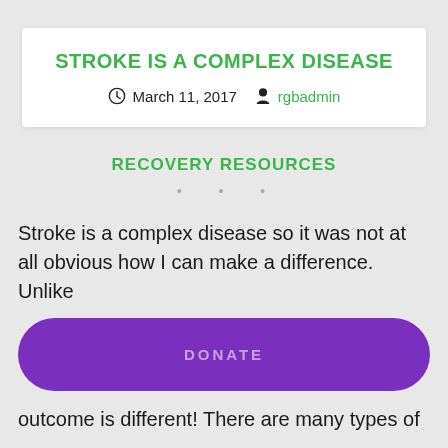STROKE IS A COMPLEX DISEASE
March 11, 2017   rgbadmin
RECOVERY RESOURCES
• • •
Stroke is a complex disease so it was not at all obvious how I can make a difference. Unlike
DONATE
outcome is different! There are many types of